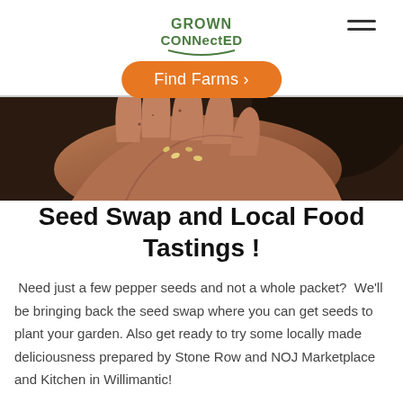Grown Connected — Find Farms >
[Figure (photo): Close-up photo of a person's hand holding seeds, with dark background]
Seed Swap and Local Food Tastings !
Need just a few pepper seeds and not a whole packet?  We'll be bringing back the seed swap where you can get seeds to plant your garden. Also get ready to try some locally made deliciousness prepared by Stone Row and NOJ Marketplace and Kitchen in Willimantic!